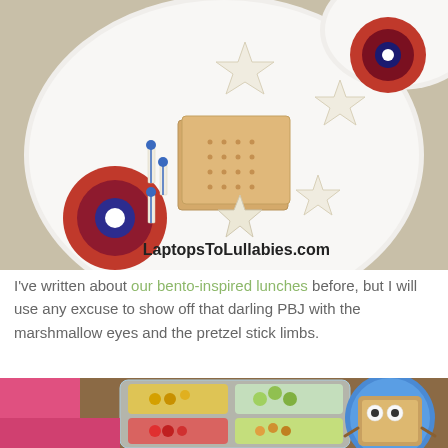[Figure (photo): A white plate with star-shaped cheese pieces, crackers stacked on top of each other, small cheese skewered with blue picks, and decorative red-and-blue circular coasters. A watermark reads 'LaptopsToLullabies.com'. Partial second plate visible at top right.]
I've written about our bento-inspired lunches before, but I will use any excuse to show off that darling PBJ with the marshmallow eyes and the pretzel stick limbs.
[Figure (photo): A child's bento-style lunch showing a clear container with multiple compartments holding colorful foods including grapes, red peppers, crackers, and other snacks, next to a blue plate with a PBJ sandwich decorated with marshmallow eyes and pretzel stick limbs.]